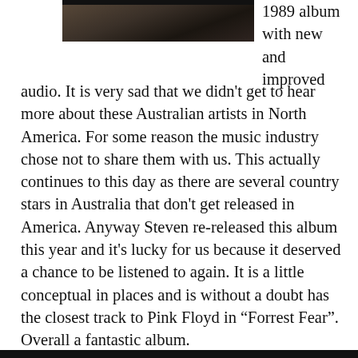[Figure (photo): Partial photograph visible at top of page, dark tones, appears to be an album cover or outdoor scene]
1989 album with new and improved audio. It is very sad that we didn't get to hear more about these Australian artists in North America. For some reason the music industry chose not to share them with us. This actually continues to this day as there are several country stars in Australia that don't get released in America. Anyway Steven re-released this album this year and it's lucky for us because it deserved a chance to be listened to again. It is a little conceptual in places and is without a doubt has the closest track to Pink Floyd in “Forrest Fear”. Overall a fantastic album.